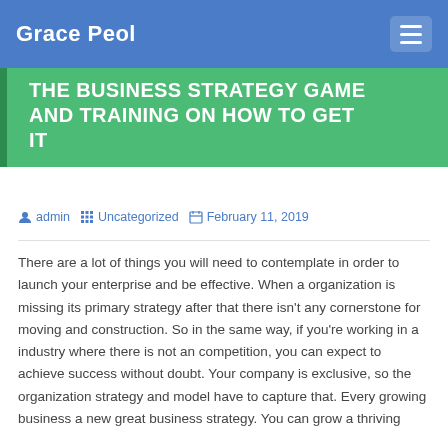Grace Peol
THE BUSINESS STRATEGY GAME AND TRAINING ON HOW TO GET IT
admin   Uncategorized   February 11, 2019
There are a lot of things you will need to contemplate in order to launch your enterprise and be effective. When a organization is missing its primary strategy after that there isn't any cornerstone for moving and construction. So in the same way, if you're working in a industry where there is not an competition, you can expect to achieve success without doubt. Your company is exclusive, so the organization strategy and model have to capture that. Every growing business a new great business strategy. You can grow a thriving